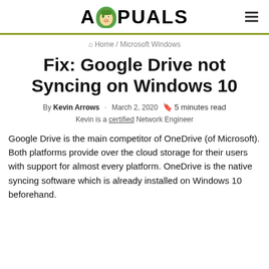APPUALS
Home / Microsoft Windows
Fix: Google Drive not Syncing on Windows 10
By Kevin Arrows · March 2, 2020 🔖 5 minutes read
Kevin is a certified Network Engineer
Google Drive is the main competitor of OneDrive (of Microsoft). Both platforms provide over the cloud storage for their users with support for almost every platform. OneDrive is the native syncing software which is already installed on Windows 10 beforehand.